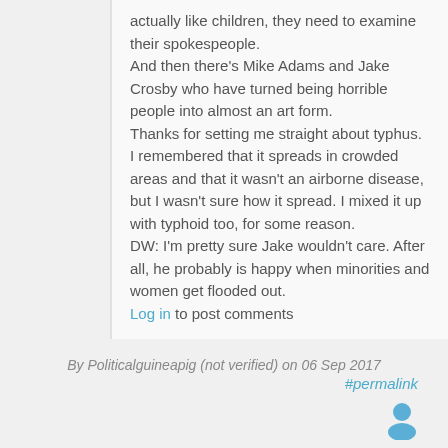actually like children, they need to examine their spokespeople.
And then there's Mike Adams and Jake Crosby who have turned being horrible people into almost an art form.
Thanks for setting me straight about typhus. I remembered that it spreads in crowded areas and that it wasn't an airborne disease, but I wasn't sure how it spread. I mixed it up with typhoid too, for some reason.
DW: I'm pretty sure Jake wouldn't care. After all, he probably is happy when minorities and women get flooded out.
Log in to post comments
By Politicalguineapig (not verified) on 06 Sep 2017
#permalink
[Figure (illustration): User avatar icon — a simple blue person silhouette]